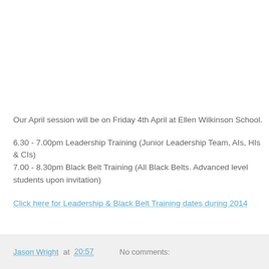Our April session will be on Friday 4th April at Ellen Wilkinson School.
6.30 - 7.00pm Leadership Training (Junior Leadership Team, AIs, HIs & CIs)
7.00 - 8.30pm Black Belt Training (All Black Belts. Advanced level students upon invitation)
Click here for Leadership & Black Belt Training dates during 2014
Jason Wright at 20:57   No comments: